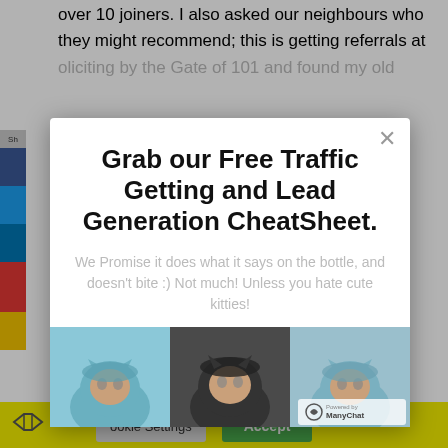over 10 joiners. I also asked our neighbours who they might recommend; this is getting referrals at
Grab our Free Traffic Getting and Lead Generation CheatSheet.
We Promise it does what it says on the bottle, and doesn't bite :) Not much! Unless you hate cute kitties!
[Figure (photo): Three kittens wearing knitted hats/hoods — blue, black, and teal colored]
Cookie Settings   Accept